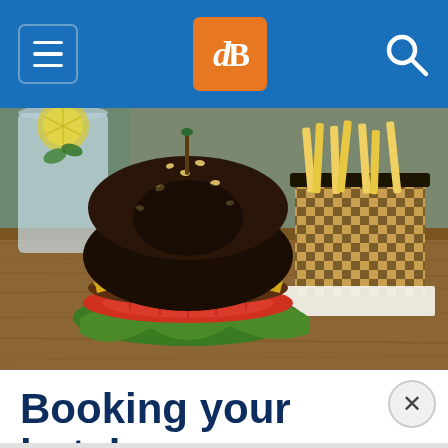dPS navigation header with hamburger menu, dPS logo, and search icon
[Figure (photo): Close-up food photo of a gourmet black sesame bun burger with lettuce, tomato, and melted cheese served on a wooden board, with a checkered basket of french fries beside it and a lemon water drink in the background]
Booking your hotel